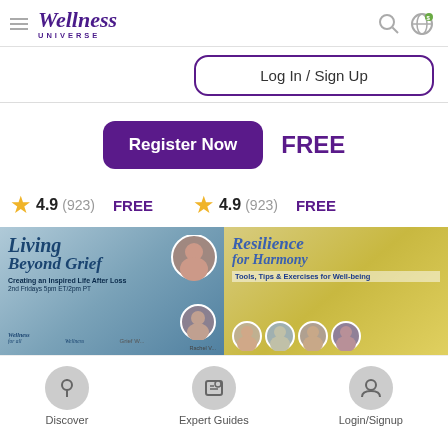Wellness Universe
Log In / Sign Up
Register Now   FREE
★ 4.9  (923)   FREE   ★ 4.9  (923)   FREE
[Figure (screenshot): Living Beyond Grief - Creating an Inspired Life After Loss, 2nd Fridays 5pm ET/2pm PT, Wellness for All, Grief W... Rachel V...]
[Figure (screenshot): Resilience for Harmony - Tools, Tips & Exercises for Well-being]
Discover   Expert Guides   Login/Signup